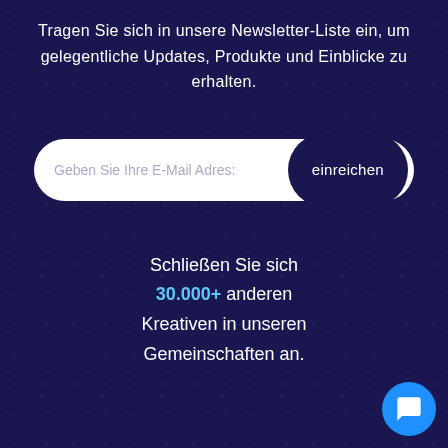Tragen Sie sich in unsere Newsletter-Liste ein, um gelegentliche Updates, Produkte und Einblicke zu erhalten.
[Figure (other): Email input form with white rounded container, placeholder text 'Geben Sie Ihre E-Mail Adresse' and dark navy submit button labeled 'einreichen']
Schließen Sie sich 30.000+ anderen Kreativen in unseren Gemeinschaften an.